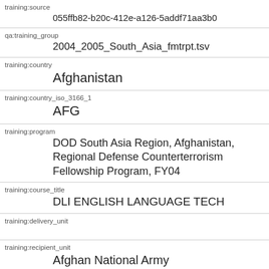| Field | Value |
| --- | --- |
| training:source | 055ffb82-b20c-412e-a126-5addf71aa3b0 |
| qa:training_group | 2004_2005_South_Asia_fmtrpt.tsv |
| training:country | Afghanistan |
| training:country_iso_3166_1 | AFG |
| training:program | DOD South Asia Region, Afghanistan, Regional Defense Counterterrorism Fellowship Program, FY04 |
| training:course_title | DLI ENGLISH LANGUAGE TECH |
| training:delivery_unit |  |
| training:recipient_unit | Afghan National Army |
| qa:training_start_date | 6/18/2004 |